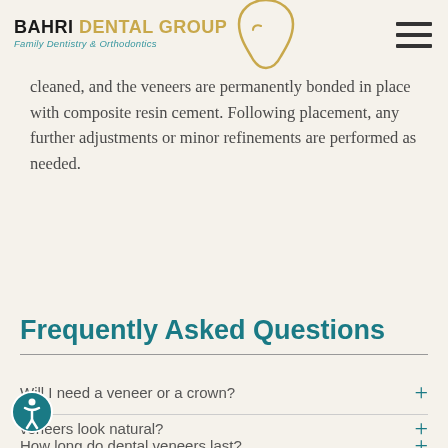BAHRI DENTAL GROUP Family Dentistry & Orthodontics
cleaned, and the veneers are permanently bonded in place with composite resin cement. Following placement, any further adjustments or minor refinements are performed as needed.
Return to Our Services
Frequently Asked Questions
Will I need a veneer or a crown?
veneers look natural?
How long do dental veneers last?